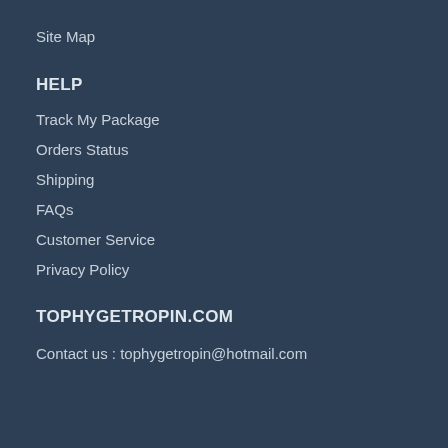Site Map
HELP
Track My Package
Orders Status
Shipping
FAQs
Customer Service
Privacy Policy
TOPHYGETROPIN.COM
Contact us : tophygetropin@hotmail.com